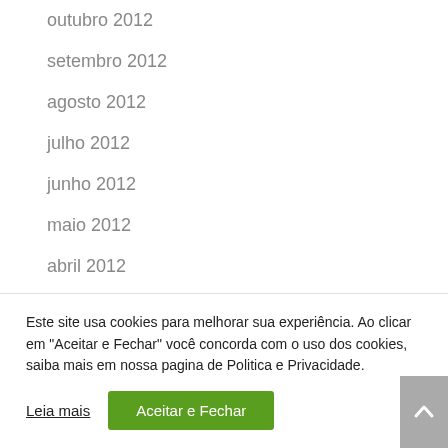outubro 2012
setembro 2012
agosto 2012
julho 2012
junho 2012
maio 2012
abril 2012
março 2012
Este site usa cookies para melhorar sua experiência. Ao clicar em "Aceitar e Fechar" você concorda com o uso dos cookies, saiba mais em nossa pagina de Politica e Privacidade.
Leia mais | Aceitar e Fechar